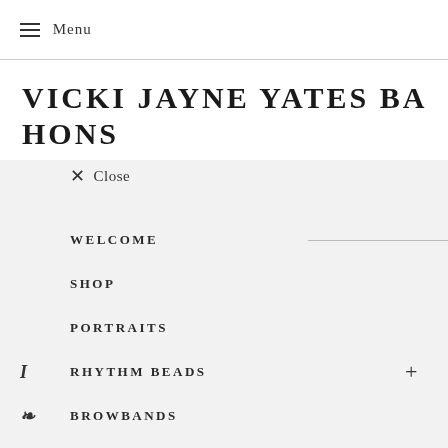≡ Menu
VICKI JAYNE YATES BA HONS
✕ Close
WELCOME
SHOP
PORTRAITS
RHYTHM BEADS
BROWBANDS